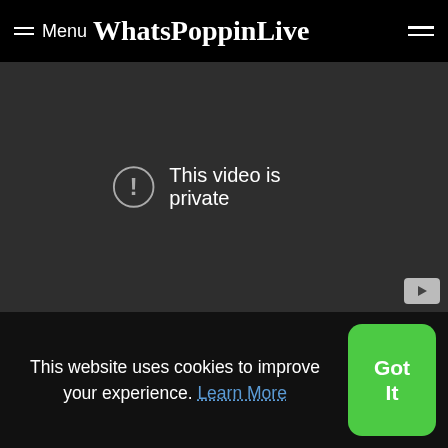Menu WhatsPoppinLive
[Figure (screenshot): Video player showing 'This video is private' message with exclamation mark icon on dark background]
[Figure (photo): Silhouette of two people facing each other (couple) on white background]
[Figure (photo): Guitar with flowers and 'love' text badge; caption: Avant - Makin Good Love (Official Video)]
This website uses cookies to improve your experience. Learn More
Got It